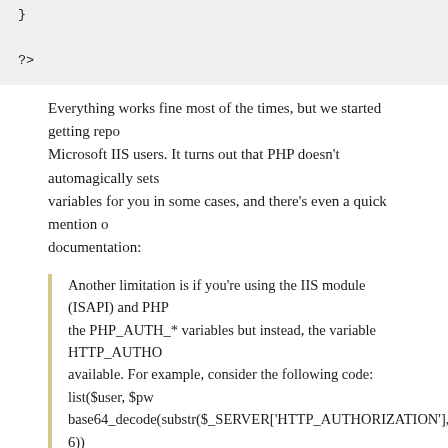}
?>
Everything works fine most of the times, but we started getting reports from Microsoft IIS users. It turns out that PHP doesn't automagically sets variables for you in some cases, and there's even a quick mention of documentation:
Another limitation is if you're using the IIS module (ISAPI) and PHP won't populate the PHP_AUTH_* variables but instead, the variable HTTP_AUTHORIZATION will be available. For example, consider the following code: list($user, $pw) = explode(':', base64_decode(substr($_SERVER['HTTP_AUTHORIZATION'], 6))
However, that wasn't true for a Microsoft IIS 6.0 that had configured... Instead of getting a $_SERVER['HTTP_AUTHORIZATION'] variable... this when doing var_dump($_SERVER):
array(30) {

["ALL_HTTP"]=>  string(985) "HTTP_CONNECTION:keep-alive